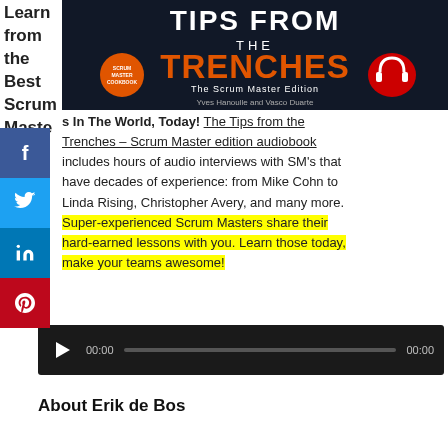Learn from the Best Scrum Masters In The World, Today!
[Figure (illustration): Book cover image for 'Tips from the Trenches – The Scrum Master Edition' by Yves Hanoulle and Vasco Duarte, dark background with orange/red text and headphone icon]
s In The World, Today! The Tips from the Trenches – Scrum Master edition audiobook includes hours of audio interviews with SM's that have decades of experience: from Mike Cohn to Linda Rising, Christopher Avery, and many more. Super-experienced Scrum Masters share their hard-earned lessons with you. Learn those today, make your teams awesome!
[Figure (screenshot): Audio player with play button, 00:00 start time, progress bar, and 00:00 end time on dark background]
About Erik de Bos